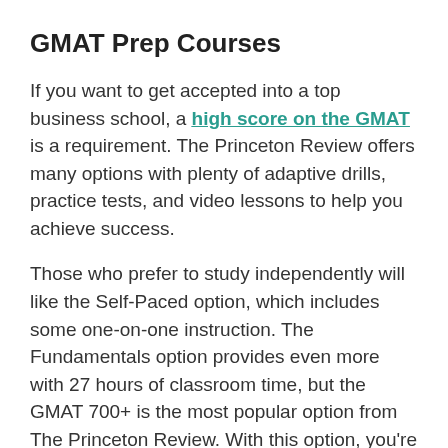GMAT Prep Courses
If you want to get accepted into a top business school, a high score on the GMAT is a requirement. The Princeton Review offers many options with plenty of adaptive drills, practice tests, and video lessons to help you achieve success.
Those who prefer to study independently will like the Self-Paced option, which includes some one-on-one instruction. The Fundamentals option provides even more with 27 hours of classroom time, but the GMAT 700+ is the most popular option from The Princeton Review. With this option, you’re guaranteed to score 700 or higher on the